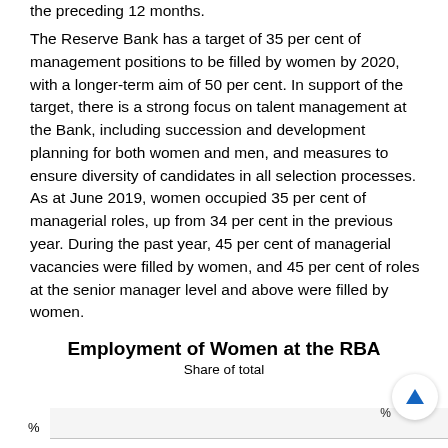the preceding 12 months.
The Reserve Bank has a target of 35 per cent of management positions to be filled by women by 2020, with a longer-term aim of 50 per cent. In support of the target, there is a strong focus on talent management at the Bank, including succession and development planning for both women and men, and measures to ensure diversity of candidates in all selection processes. As at June 2019, women occupied 35 per cent of managerial roles, up from 34 per cent in the previous year. During the past year, 45 per cent of managerial vacancies were filled by women, and 45 per cent of roles at the senior manager level and above were filled by women.
[Figure (line-chart): Line chart showing Employment of Women at the RBA, Share of total, with y-axis in % and partial view at bottom of page]